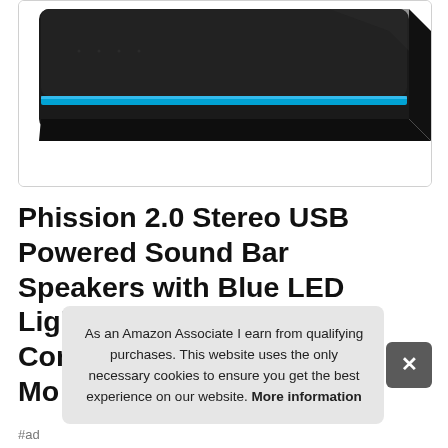[Figure (photo): Partial view of a black sound bar speaker with a blue LED light strip along its top edge, shown against a white background inside a rounded-corner box.]
Phission 2.0 Stereo USB Powered Sound Bar Speakers with Blue LED Light and 3.5 mm Aux Connection for Co... Mo...
As an Amazon Associate I earn from qualifying purchases. This website uses the only necessary cookies to ensure you get the best experience on our website. More information
#ad